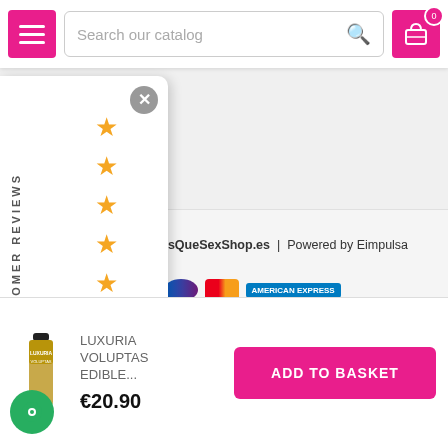Search our catalog | Menu | Cart (0)
[Figure (screenshot): Customer reviews panel with 5 stars displayed vertically, close button, and 'CUSTOMER REVIEWS' vertical text label]
Copyright © 2021 MasQueSexShop.es | Powered by Eimpulsa
[Figure (screenshot): Payment method icons: VISA, PayPal, Sofort, Maestro, Mastercard, American Express]
LUXURIA VOLUPTAS EDIBLE...
€20.90
ADD TO BASKET